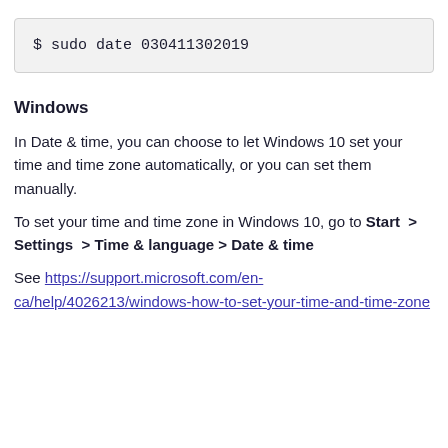Windows
In Date & time, you can choose to let Windows 10 set your time and time zone automatically, or you can set them manually.
To set your time and time zone in Windows 10, go to Start > Settings > Time & language > Date & time
See https://support.microsoft.com/en-ca/help/4026213/windows-how-to-set-your-time-and-time-zone